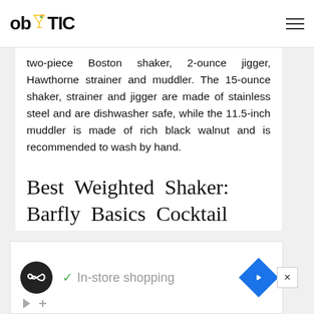ob TIC
two-piece Boston shaker, 2-ounce jigger, Hawthorne strainer and muddler. The 15-ounce shaker, strainer and jigger are made of stainless steel and are dishwasher safe, while the 11.5-inch muddler is made of rich black walnut and is recommended to wash by hand.
Best Weighted Shaker: Barfly Basics Cocktail
[Figure (other): Advertisement banner with circular logo icon, checkmark, 'In-store shopping' text, and blue navigation diamond icon]